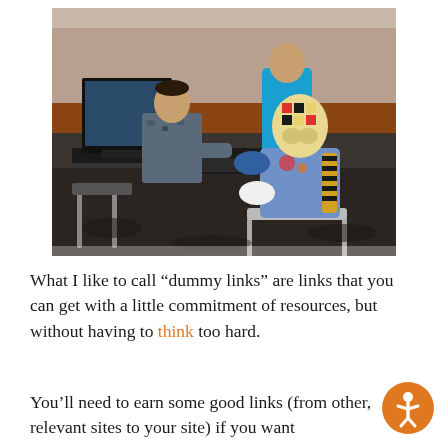[Figure (photo): A crash test dummy dressed in a blue suit with yellow-black striped markings sitting at a computer workstation alongside people in military uniforms in a conference room setting.]
What I like to call “dummy links” are links that you can get with a little commitment of resources, but without having to think too hard.
You’ll need to earn some good links (from other, relevant sites to your site) if you want